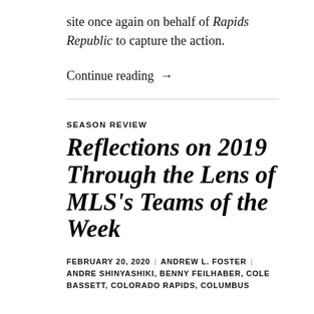site once again on behalf of Rapids Republic to capture the action.
Continue reading →
SEASON REVIEW
Reflections on 2019 Through the Lens of MLS's Teams of the Week
FEBRUARY 20, 2020 | ANDREW L. FOSTER | ANDRE SHINYASHIKI, BENNY FEILHABER, COLE BASSETT, COLORADO RAPIDS, COLUMBUS